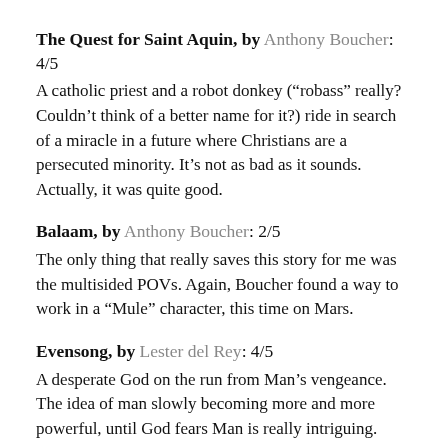The Quest for Saint Aquin, by Anthony Boucher: 4/5
A catholic priest and a robot donkey (“robass” really? Couldn’t think of a better name for it?) ride in search of a miracle in a future where Christians are a persecuted minority. It’s not as bad as it sounds. Actually, it was quite good.
Balaam, by Anthony Boucher: 2/5
The only thing that really saves this story for me was the multisided POVs. Again, Boucher found a way to work in a “Mule” character, this time on Mars.
Evensong, by Lester del Rey: 4/5
A desperate God on the run from Man’s vengeance. The idea of man slowly becoming more and more powerful, until God fears Man is really intriguing. Nice prose.